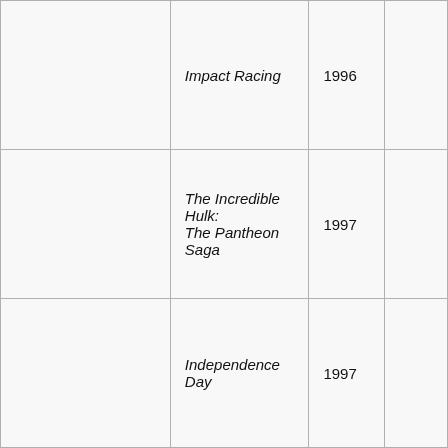|  | Impact Racing | 1996 |  |
|  | The Incredible Hulk: The Pantheon Saga | 1997 |  |
|  | Independence Day | 1997 |  |